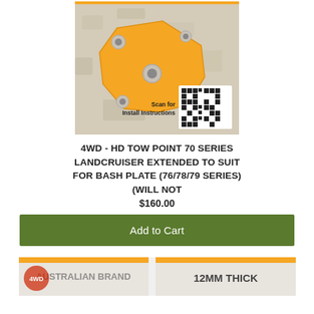[Figure (photo): Orange metal tow point bracket with mounting holes, shown on a stone/concrete background. Bottom right corner shows a QR code with text 'Scan for Install Instructions'.]
4WD - HD TOW POINT 70 SERIES LANDCRUISER EXTENDED TO SUIT FOR BASH PLATE (76/78/79 SERIES) (WILL NOT
$160.00
Add to Cart
[Figure (photo): Partial view of a product packaging at the bottom of the page. Left side shows a logo/brand label and right side shows text '12MM THICK'.]